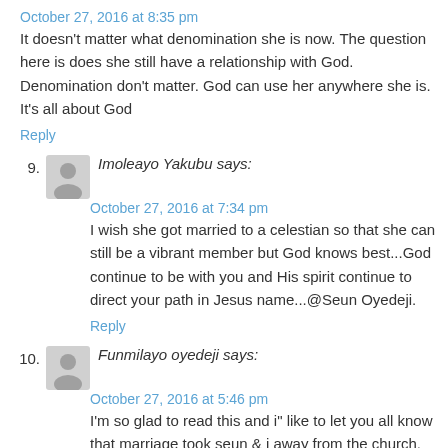October 27, 2016 at 8:35 pm
It doesn't matter what denomination she is now. The question here is does she still have a relationship with God. Denomination don't matter. God can use her anywhere she is. It's all about God
Reply
9. Imoleayo Yakubu says:
October 27, 2016 at 7:34 pm
I wish she got married to a celestian so that she can still be a vibrant member but God knows best...God continue to be with you and His spirit continue to direct your path in Jesus name...@Seun Oyedeji.
Reply
10. Funmilayo oyedeji says:
October 27, 2016 at 5:46 pm
I'm so glad to read this and i" like to let you all know that marriage took seun & i away from the church. And the remaining 6 of our brothers and our younger sister are well rooted in the church. Thank you all
Reply